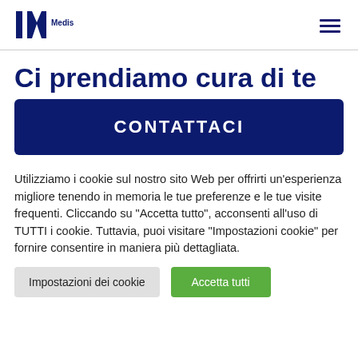Medis logo and navigation menu
Ci prendiamo cura di te
CONTATTACI
Utilizziamo i cookie sul nostro sito Web per offrirti un'esperienza migliore tenendo in memoria le tue preferenze e le tue visite frequenti. Cliccando su "Accetta tutto", acconsenti all'uso di TUTTI i cookie. Tuttavia, puoi visitare "Impostazioni cookie" per fornire consentire in maniera più dettagliata.
Impostazioni dei cookie | Accetta tutti